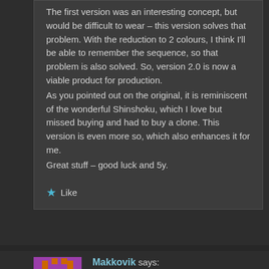The first version was an interesting concept, but would be difficult to wear – this version solves that problem. With the reduction to 2 colours, I think I'll be able to remember the sequence, so that problem is also solved. So, version 2.0 is now a viable product for production.
As you pointed out on the original, it is reminiscent of the wonderful Shinshoku, which I love but missed buying and had to buy a clone. This version is even more so, which also enhances it for me.
Great stuff – good luck and 5y.
★ Like
Makkovik says:
August 26, 2014 at 9:22 pm
TY, the version inspired by the Shinshoku is https://fbcdn-